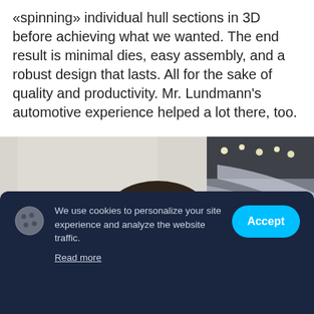«spinning» individual hull sections in 3D before achieving what we wanted. The end result is minimal dies, easy assembly, and a robust design that lasts. All for the sake of quality and productivity. Mr. Lundmann's automotive experience helped a lot there, too.
[Figure (photo): Photo of a man at what appears to be a trade show or exhibition, cropped at head/shoulders. Exhibition hall ceiling visible in background.]
We use cookies to personalize your site experience and analyze the website traffic.
Read more